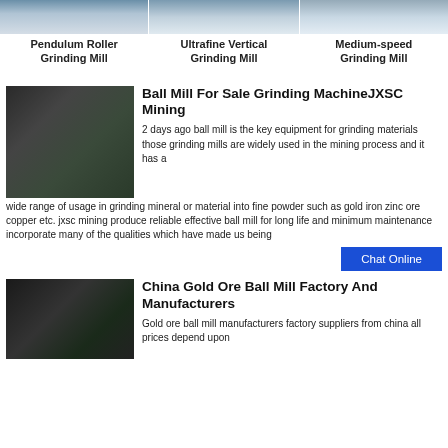[Figure (photo): Pendulum Roller Grinding Mill machine photo]
Pendulum Roller Grinding Mill
[Figure (photo): Ultrafine Vertical Grinding Mill machine photo]
Ultrafine Vertical Grinding Mill
[Figure (photo): Medium-speed Grinding Mill machine photo]
Medium-speed Grinding Mill
[Figure (photo): Ball mill grinding machine industrial equipment photo]
Ball Mill For Sale Grinding MachineJXSC Mining
2 days ago ball mill is the key equipment for grinding materials those grinding mills are widely used in the mining process and it has a wide range of usage in grinding mineral or material into fine powder such as gold iron zinc ore copper etc. jxsc mining produce reliable effective ball mill for long life and minimum maintenance incorporate many of the qualities which have made us being
Chat Online
[Figure (photo): China gold ore ball mill factory industrial photo]
China Gold Ore Ball Mill Factory And Manufacturers
Gold ore ball mill manufacturers factory suppliers from china all prices depend upon